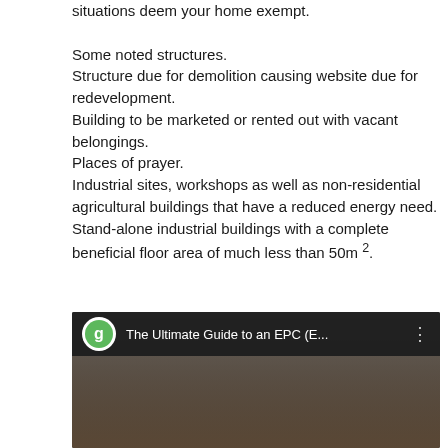situations deem your home exempt.

Some noted structures.
Structure due for demolition causing website due for redevelopment.
Building to be marketed or rented out with vacant belongings.
Places of prayer.
Industrial sites, workshops as well as non-residential agricultural buildings that have a reduced energy need.
Stand-alone industrial buildings with a complete beneficial floor area of much less than 50m ².
[Figure (screenshot): Video thumbnail for 'The Ultimate Guide to an EPC (E...' showing a person and a channel icon with a green circular logo.]